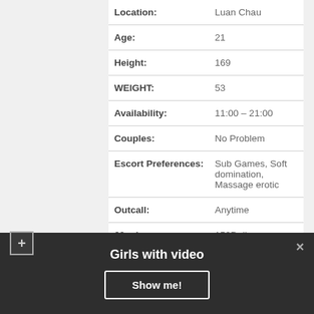| Field | Value |
| --- | --- |
| Location: | Luan Chau |
| Age: | 21 |
| Height: | 169 |
| WEIGHT: | 53 |
| Availability: | 11:00 – 21:00 |
| Couples: | No Problem |
| Escort Preferences: | Sub Games, Soft domination, Massage erotic |
| Outcall: | Anytime |
| 60 min: | 150Doll |
| Overnight: | 460$ |
Girls with video
Show me!